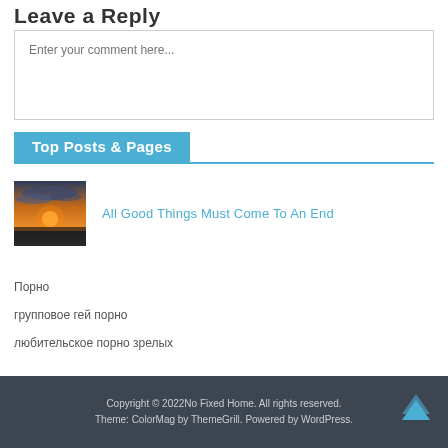Leave a Reply
Enter your comment here...
Top Posts & Pages
[Figure (photo): Thumbnail photo of a sunset landscape with dramatic clouds and orange sky over flat terrain]
All Good Things Must Come To An End
Порно
групповое гей порно
любительское порно зрелых
Copyright © 2022No Fixed Home. All rights reserved. Theme: ColorMag by ThemeGrill. Powered by WordPress.